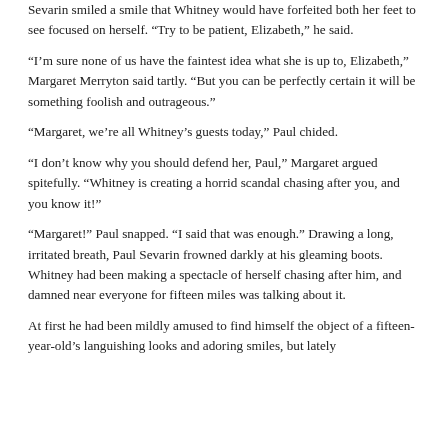Sevarin smiled a smile that Whitney would have forfeited both her feet to see focused on herself. “Try to be patient, Elizabeth,” he said.
“I’m sure none of us have the faintest idea what she is up to, Elizabeth,” Margaret Merryton said tartly. “But you can be perfectly certain it will be something foolish and outrageous.”
“Margaret, we’re all Whitney’s guests today,” Paul chided.
“I don’t know why you should defend her, Paul,” Margaret argued spitefully. “Whitney is creating a horrid scandal chasing after you, and you know it!”
“Margaret!” Paul snapped. “I said that was enough.” Drawing a long, irritated breath, Paul Sevarin frowned darkly at his gleaming boots. Whitney had been making a spectacle of herself chasing after him, and damned near everyone for fifteen miles was talking about it.
At first he had been mildly amused to find himself the object of a fifteen-year-old’s languishing looks and adoring smiles, but lately